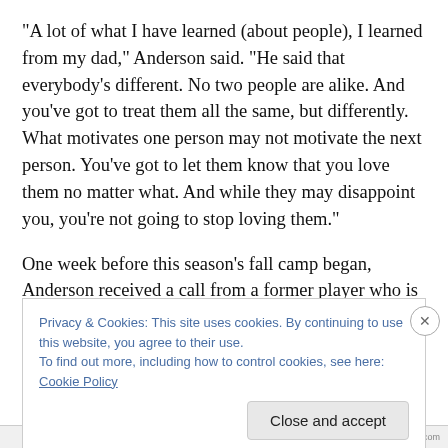“A lot of what I have learned (about people), I learned from my dad,” Anderson said. “He said that everybody’s different. No two people are alike. And you’ve got to treat them all the same, but differently. What motivates one person may not motivate the next person. You’ve got to let them know that you love them no matter what. And while they may disappoint you, you’re not going to stop loving them.”
One week before this season’s fall camp began, Anderson received a call from a former player who is now turning 50;
Privacy & Cookies: This site uses cookies. By continuing to use this website, you agree to their use.
To find out more, including how to control cookies, see here: Cookie Policy